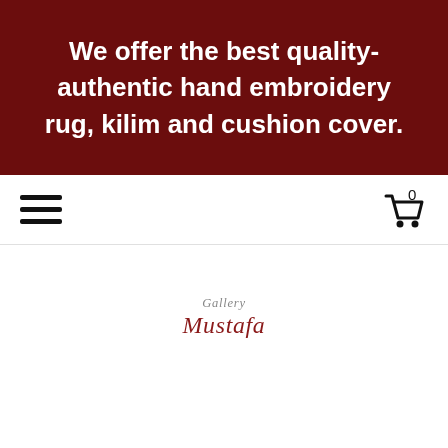We offer the best quality-authentic hand embroidery rug, kilim and cushion cover.
[Figure (logo): Navigation bar with hamburger menu icon on left and shopping cart icon with badge '0' on right]
[Figure (logo): Gallery Mustafa script logo in cursive/calligraphy style with dark red color]